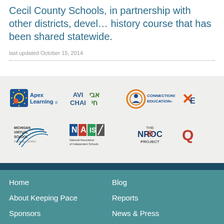Cecil County Schools, in partnership with other districts, developed a local history course that has been shared statewide.
last updated October 15, 2014
[Figure (logo): Sponsor logos row 1: Apex Learning, Avi Chai, Connections Education, partial logo (Ed...)]
[Figure (logo): Sponsor logos row 2: Michigan Virtual School, NAIS National Association of Independent Schools, The NROC Project, partial logo (Qu...)]
Home | About Keeping Pace | Sponsors | Blog | Reports | News & Press